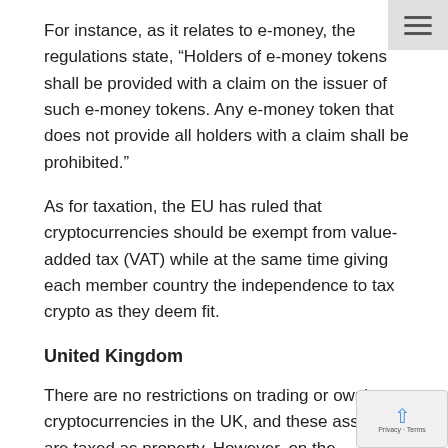For instance, as it relates to e-money, the regulations state, “Holders of e-money tokens shall be provided with a claim on the issuer of such e-money tokens. Any e-money token that does not provide all holders with a claim shall be prohibited.”
As for taxation, the EU has ruled that cryptocurrencies should be exempt from value-added tax (VAT) while at the same time giving each member country the independence to tax crypto as they deem fit.
United Kingdom
There are no restrictions on trading or owning cryptocurrencies in the UK, and these assets are taxed as property. However, on the corporate side, the UK requires any crypto-related business to register with its local regulatory body, the Financial Conduct Authority (FCA). It has also instituted bans on marketing crypto-related